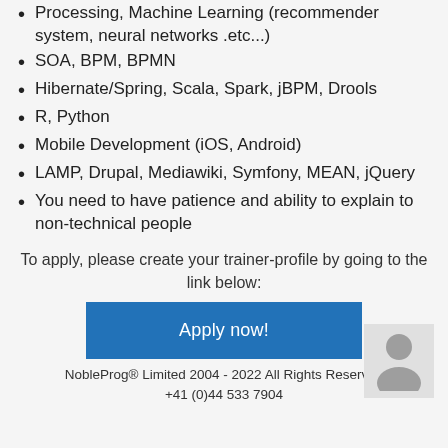Processing, Machine Learning (recommender system, neural networks .etc...)
SOA, BPM, BPMN
Hibernate/Spring, Scala, Spark, jBPM, Drools
R, Python
Mobile Development (iOS, Android)
LAMP, Drupal, Mediawiki, Symfony, MEAN, jQuery
You need to have patience and ability to explain to non-technical people
To apply, please create your trainer-profile by going to the link below:
[Figure (other): Blue button labeled 'Apply now!']
[Figure (other): Gray avatar/person icon placeholder image]
NobleProg® Limited 2004 - 2022 All Rights Reserved
+41 (0)44 533 7904